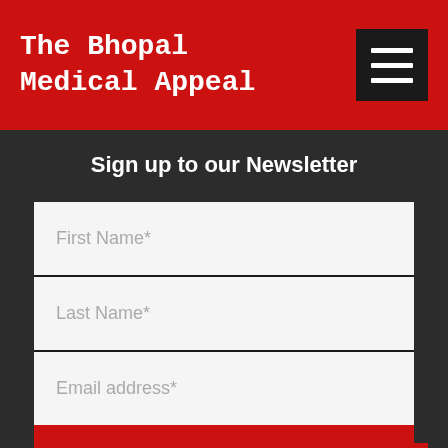The Bhopal Medical Appeal
Sign up to our Newsletter
First Name*
Last Name*
Email address*
Sign up